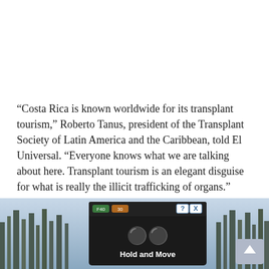“Costa Rica is known worldwide for its transplant tourism,” Roberto Tanus, president of the Transplant Society of Latin America and the Caribbean, told El Universal. “Everyone knows what we are talking about here. Transplant tourism is an elegant disguise for what is really the illicit trafficking of organs.”
According to the story, 48,000 medical tourists came to Costa Rica for some kind of procedure in 2012, and each person spent an aver
[Figure (screenshot): Advertisement overlay at the bottom of the page showing a dark-themed app ad box with a 'Hold and Move' label, people icon, timer indicators, help and close buttons, over a winter tree background photo.]